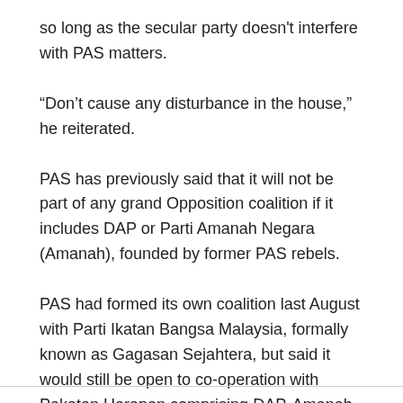so long as the secular party doesn't interfere with PAS matters.
“Don’t cause any disturbance in the house,” he reiterated.
PAS has previously said that it will not be part of any grand Opposition coalition if it includes DAP or Parti Amanah Negara (Amanah), founded by former PAS rebels.
PAS had formed its own coalition last August with Parti Ikatan Bangsa Malaysia, formally known as Gagasan Sejahtera, but said it would still be open to co-operation with Pakatan Harapan comprising DAP, Amanah and PKR.
– themalaymailonline